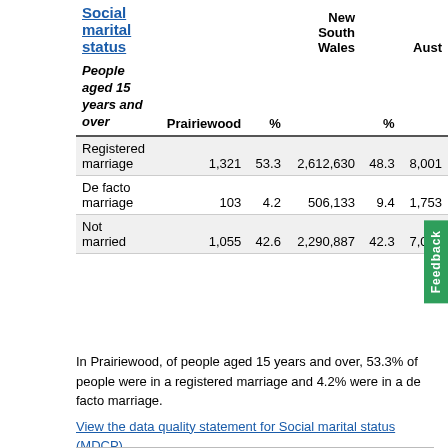| Social marital status / People aged 15 years and over | Prairiewood | % | New South Wales | % Aust |
| --- | --- | --- | --- | --- |
| Registered marriage | 1,321 | 53.3 | 2,612,630 | 48.3 | 8,001 |
| De facto marriage | 103 | 4.2 | 506,133 | 9.4 | 1,753 |
| Not married | 1,055 | 42.6 | 2,290,887 | 42.3 | 7,024 |
In Prairiewood, of people aged 15 years and over, 53.3% of people were in a registered marriage and 4.2% were in a de facto marriage.
View the data quality statement for Social marital status (MDCP)